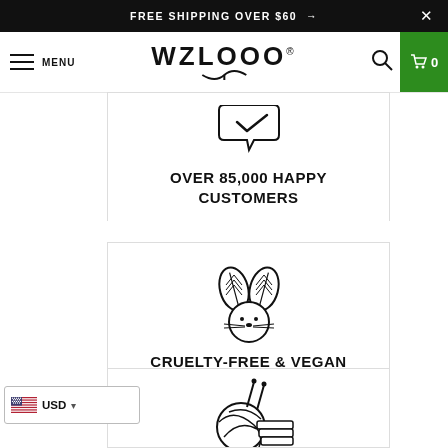FREE SHIPPING OVER $60 →  ✕
MENU  WZLOOO®  🔍  0
[Figure (illustration): Bunny/speech-bubble icon with checkmark tail — brand mascot for happy customers]
OVER 85,000 HAPPY CUSTOMERS
[Figure (illustration): Cruelty-free vegan bunny icon — rabbit face with leaf ears]
CRUELTY-FREE & VEGAN
[Figure (illustration): Yarn/knitting icon — ball of yarn with knitting needles and folded fabric]
USD (currency selector with US flag)